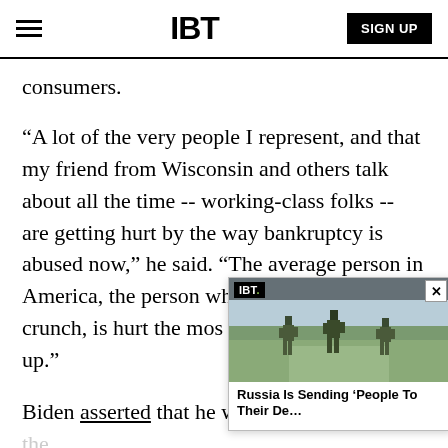IBT  SIGN UP
consumers.
“A lot of the very people I represent, and that my friend from Wisconsin and others talk about all the time -- working-class folks -- are getting hurt by the way bankruptcy is abused now,” he said. “The average person in America, the person who really is in a crunch, is hurt the most when these rates go up.”
[Figure (screenshot): Floating video widget showing IBT logo and headline: Russia Is Sending 'People To Their De...' with background image of soldiers walking]
Biden asserted that he was concerned about the financial pressures of student debt, noting that